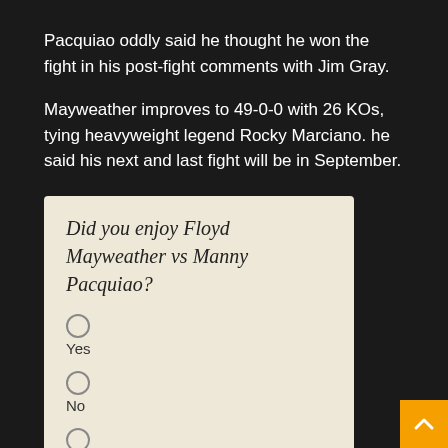Pacquiao oddly said he thought he won the fight in his post-fight comments with Jim Gray.
Mayweather improves to 49-0-0 with 26 KOs, tying heavyweight legend Rocky Marciano. he said his next and last fight will be in September.
[Figure (other): Poll widget with beige background asking 'Did you enjoy Floyd Mayweather vs Manny Pacquiao?' with three radio button options: Yes, No, I'm not sure]
[Figure (other): Orange back-to-top button with upward arrow chevron in bottom right corner]